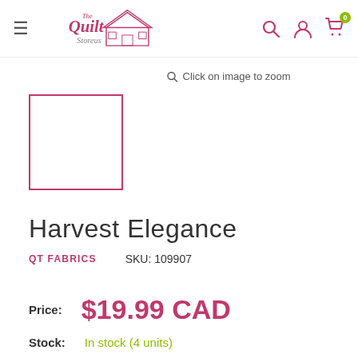The Quilt Storeus — navigation bar with hamburger menu, logo, search, account, and cart (0 items)
Click on image to zoom
[Figure (photo): Product thumbnail placeholder — empty white square with pink/magenta border]
Harvest Elegance
QT FABRICS    SKU: 109907
Price:   $19.99 CAD
Stock:   In stock (4 units)